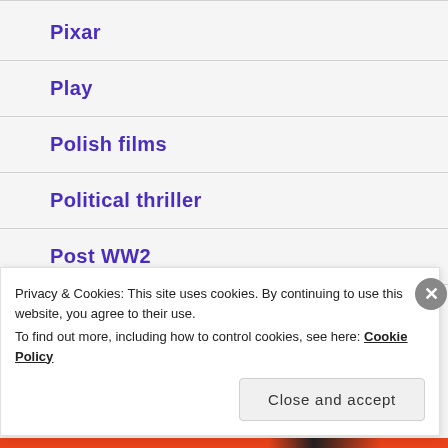Pixar
Play
Polish films
Political thriller
Post WW2
Prequels
Privacy & Cookies: This site uses cookies. By continuing to use this website, you agree to their use.
To find out more, including how to control cookies, see here: Cookie Policy
Close and accept